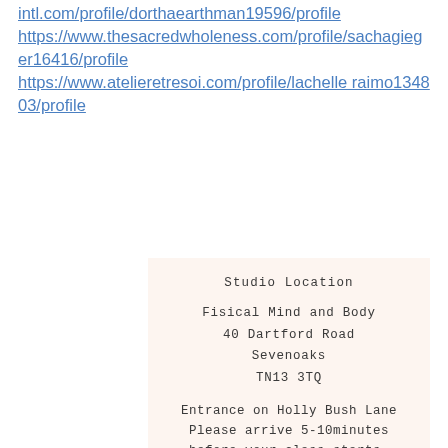intl.com/profile/dorthaearthman19596/profile https://www.thesacredwholeness.com/profile/sachagieger16416/profile https://www.atelieretresoi.com/profile/lachelleraimo134803/profile
Studio Location
Fisical Mind and Body
40 Dartford Road
Sevenoaks
TN13 3TQ
Entrance on Holly Bush Lane
Please arrive 5-10minutes before your class starts.
hello@fisicalmindandbody.com
STAY CONNECTED
Follow us on Instagram:
@fisicalmindandbodystudio
Subscribe to our mailing list.